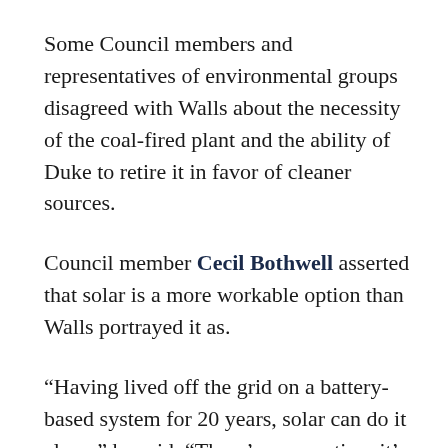Some Council members and representatives of environmental groups disagreed with Walls about the necessity of the coal-fired plant and the ability of Duke to retire it in favor of cleaner sources.
Council member Cecil Bothwell asserted that solar is a more workable option than Walls portrayed it as.
“Having lived off the grid on a battery-based system for 20 years, solar can do it alone,” he said. “There’s no question, it’s a question of cost.” Bothwell asked if the company was looking into new battery technology that